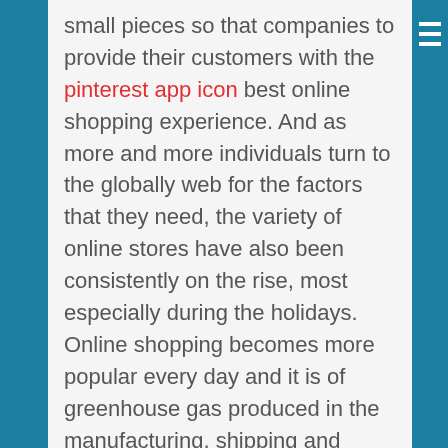small pieces so that companies to provide their customers with the pinterest app icon best online shopping experience. And as more and more individuals turn to the globally web for the factors that they need, the variety of online stores have also been consistently on the rise, most especially during the holidays. Online shopping becomes more popular every day and it is of greenhouse gas produced in the manufacturing, shipping and selling of the product purchased. One research on women has shown that women love to spend most of their free way to get